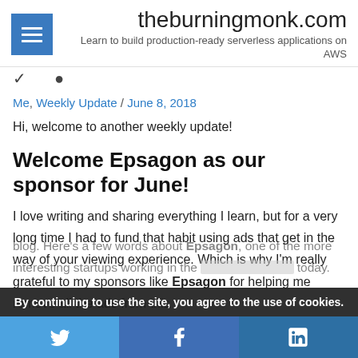theburningmonk.com — Learn to build production-ready serverless applications on AWS
[Figure (illustration): Small bird/icon image placeholder with dots]
Me, Weekly Update / June 8, 2018
Hi, welcome to another weekly update!
Welcome Epsagon as our sponsor for June!
I love writing and sharing everything I learn, but for a very long time I had to fund that habit using ads that get in the way of your viewing experience. Which is why I'm really grateful to my sponsors like Epsagon for helping me remove all the ads from this blog. Here's a few words about Epsagon, one of the more interesting startups working in the … today.
By continuing to use the site, you agree to the use of cookies.
[Figure (infographic): Social share buttons: Twitter, Facebook, LinkedIn]